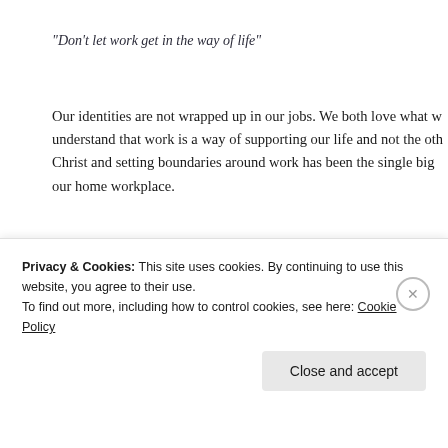“Don’t let work get in the way of life”
Our identities are not wrapped up in our jobs. We both love what w... understand that work is a way of supporting our life and not the oth... Christ and setting boundaries around work has been the single big... our home workplace.
Advertisements
[Figure (infographic): Advertisement banner with beige background reading 'Need a website quick and on a budget? Let us build it for you' with a photo of a dog partially visible on the right.]
Privacy & Cookies: This site uses cookies. By continuing to use this website, you agree to their use.
To find out more, including how to control cookies, see here: Cookie Policy
Close and accept